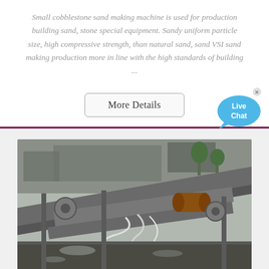Small cobblestone sand making machine is used for production building sand, stone special equipment. Sandy uniform particle size, high compressive strength, than natural sand, sand VSI sand making production more in line with the high standards of building ...
[Figure (other): More Details button and Live Chat bubble]
[Figure (photo): Photo of cobblestone/sand making machine equipment with conveyor belts and mechanical components]
COBBLESTONES FACTORY, CUSTOM COBBLESTONES OEM/ODM ...